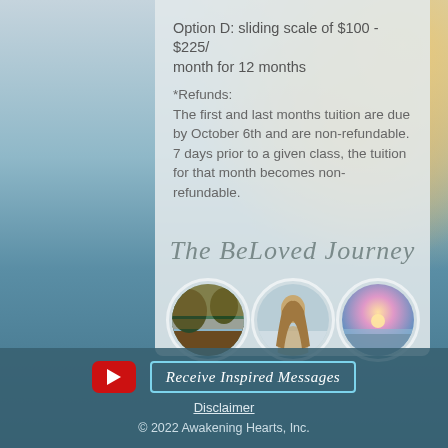Option D: sliding scale of $100 - $225/month for 12 months
*Refunds:
The first and last months tuition are due by October 6th and are non-refundable.
7 days prior to a given class, the tuition for that month becomes non-refundable.
The BeLoved Journey
[Figure (photo): Three circular photos: a mountain lake at sunset, a woman with long hair seen from behind, and a coastal sunset with rocky shore]
[Figure (logo): YouTube play button logo (red rounded rectangle with white triangle)]
Receive Inspired Messages
Disclaimer
© 2022 Awakening Hearts, Inc.